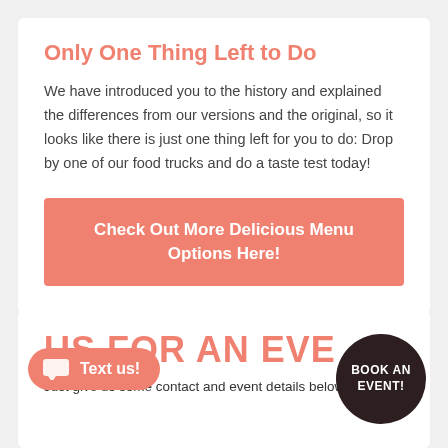Only One Thing Left to Do
We have introduced you to the history and explained the differences from our versions and the original, so it looks like there is just one thing left for you to do: Drop by one of our food trucks and do a taste test today!
Check Out More Delicious Menu Options Here!
US FOR AN EVENT!
Just give us some contact and event details below
Text us!
BOOK AN EVENT!